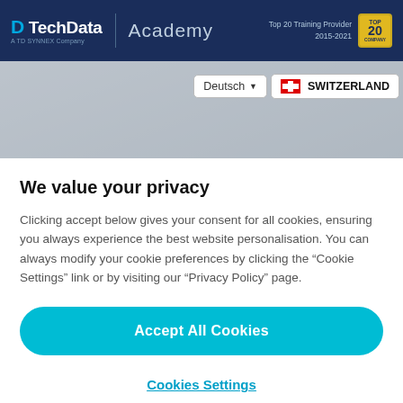Tech Data Academy — Top 20 Training Provider 2015-2021
[Figure (screenshot): Hero/banner area with language selector showing Deutsch and Switzerland with flag]
We value your privacy
Clicking accept below gives your consent for all cookies, ensuring you always experience the best website personalisation. You can always modify your cookie preferences by clicking the “Cookie Settings” link or by visiting our “Privacy Policy” page.
Accept All Cookies
Cookies Settings